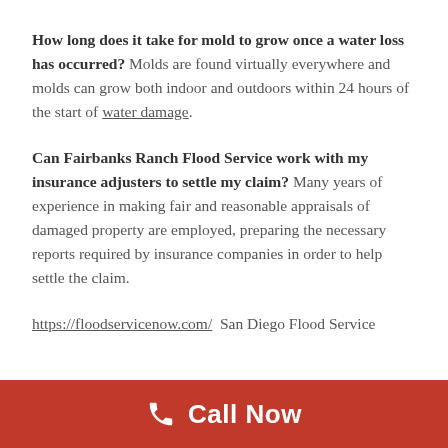How long does it take for mold to grow once a water loss has occurred? Molds are found virtually everywhere and molds can grow both indoor and outdoors within 24 hours of the start of water damage.
Can Fairbanks Ranch Flood Service work with my insurance adjusters to settle my claim? Many years of experience in making fair and reasonable appraisals of damaged property are employed, preparing the necessary reports required by insurance companies in order to help settle the claim.
https://floodservicenow.com/  San Diego Flood Service
[Figure (infographic): Red call-to-action banner at bottom with phone icon and 'Call Now' text in white on red background]